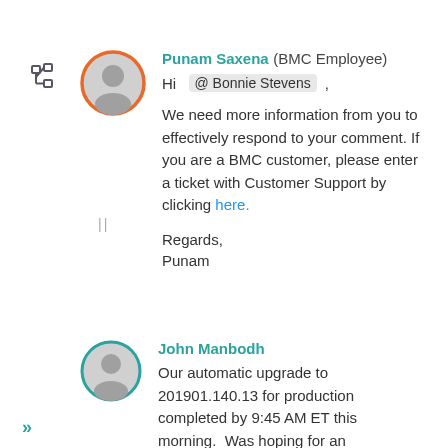[Figure (illustration): Tree/hierarchy icon in dark gray at top left]
[Figure (illustration): User avatar circle with orange border and gray person silhouette]
Punam Saxena (BMC Employee)
Hi @Bonnie Stevens ,

We need more information from you to effectively respond to your comment. If you are a BMC customer, please enter a ticket with Customer Support by clicking here.

Regards,

Punam
[Figure (illustration): User avatar circle with teal border and gray person silhouette]
John Manbodh
Our automatic upgrade to 201901.140.13 for production completed by 9:45 AM ET this morning.  Was hoping for an
[Figure (illustration): Double right arrow chevron icon in teal at bottom left]